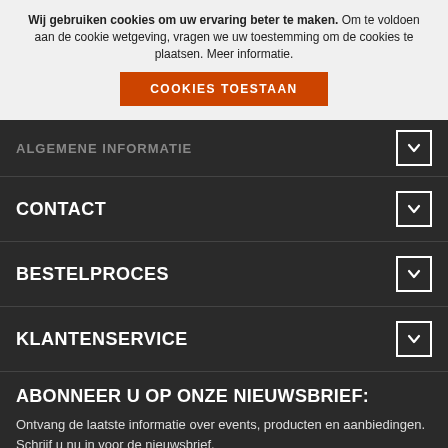Wij gebruiken cookies om uw ervaring beter te maken. Om te voldoen aan de cookie wetgeving, vragen we uw toestemming om de cookies te plaatsen. Meer informatie.
COOKIES TOESTAAN
ALGEMENE INFORMATIE
CONTACT
BESTELPROCES
KLANTENSERVICE
ABONNEER U OP ONZE NIEUWSBRIEF:
Ontvang de laatste informatie over events, producten en aanbiedingen. Schrijf u nu in voor de nieuwsbrief.
AANMELDEN
[Figure (other): Social media icons: Twitter, LinkedIn, YouTube]